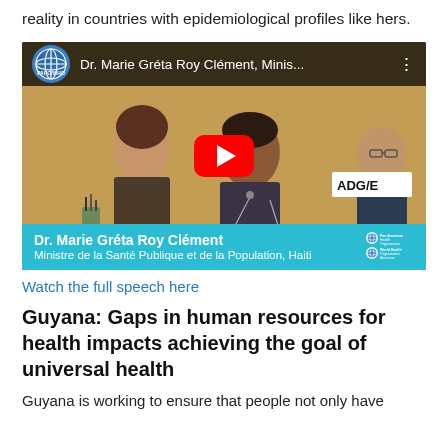reality in countries with epidemiological profiles like hers.
[Figure (screenshot): YouTube video thumbnail showing Dr. Marie Gréta Roy Clément speaking at a podium with the title bar reading 'Dr. Marie Gréta Roy Clément, Minis...' and a red YouTube play button in the center. Lower bar shows 'Dr. Marie Gréta Roy Clément, Ministre de la Santé Publique et de la Population, Haiti' on a cyan background with PAHO/WHO logos.]
Watch the full speech here
Guyana: Gaps in human resources for health impacts achieving the goal of universal health
Guyana is working to ensure that people not only have